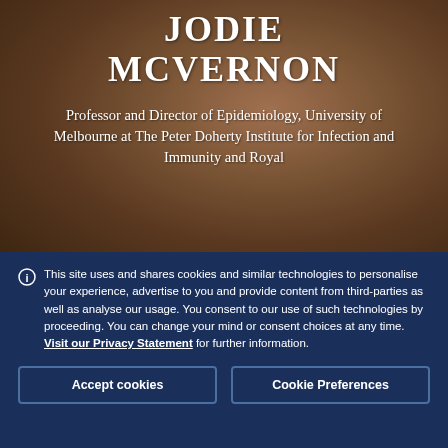JODIE MCVERNON
Professor and Director of Epidemiology, University of Melbourne at The Peter Doherty Institute for Infection and Immunity and Royal
ⓘ This site uses and shares cookies and similar technologies to personalise your experience, advertise to you and provide content from third-parties as well as analyse our usage. You consent to our use of such technologies by proceeding. You can change your mind or consent choices at any time. Visit our Privacy Statement for further information.
Accept cookies
Cookie Preferences